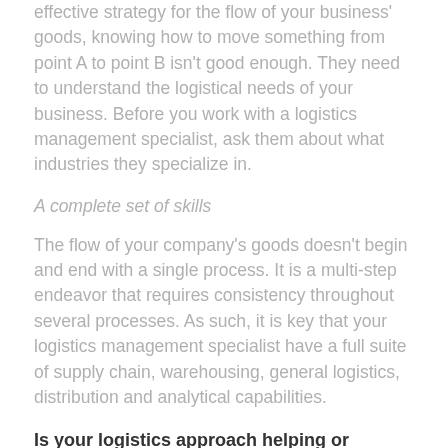effective strategy for the flow of your business' goods, knowing how to move something from point A to point B isn't good enough. They need to understand the logistical needs of your business. Before you work with a logistics management specialist, ask them about what industries they specialize in.
A complete set of skills
The flow of your company's goods doesn't begin and end with a single process. It is a multi-step endeavor that requires consistency throughout several processes. As such, it is key that your logistics management specialist have a full suite of supply chain, warehousing, general logistics, distribution and analytical capabilities.
Is your logistics approach helping or hurting your